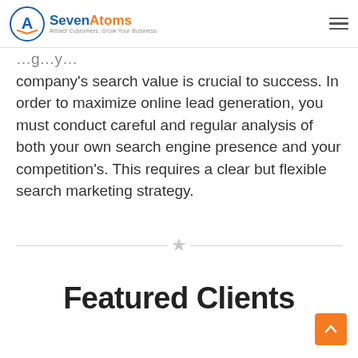SevenAtoms — Attract Customers, Grow Your Business
company's search value is crucial to success. In order to maximize online lead generation, you must conduct careful and regular analysis of both your own search engine presence and your competition's. This requires a clear but flexible search marketing strategy.
[Figure (other): Horizontal divider line with a light grey star icon in the center]
Featured Clients